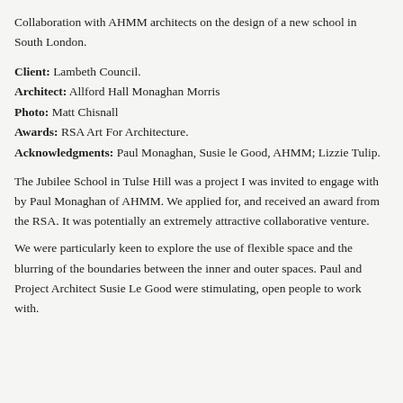Collaboration with AHMM architects on the design of a new school in South London.
Client: Lambeth Council.
Architect: Allford Hall Monaghan Morris
Photo: Matt Chisnall
Awards: RSA Art For Architecture.
Acknowledgments: Paul Monaghan, Susie le Good, AHMM; Lizzie Tulip.
The Jubilee School in Tulse Hill was a project I was invited to engage with by Paul Monaghan of AHMM. We applied for, and received an award from the RSA. It was potentially an extremely attractive collaborative venture.
We were particularly keen to explore the use of flexible space and the blurring of the boundaries between the inner and outer spaces. Paul and Project Architect Susie Le Good were stimulating, open people to work with. I felt that starting a conversation about what we considered to be...